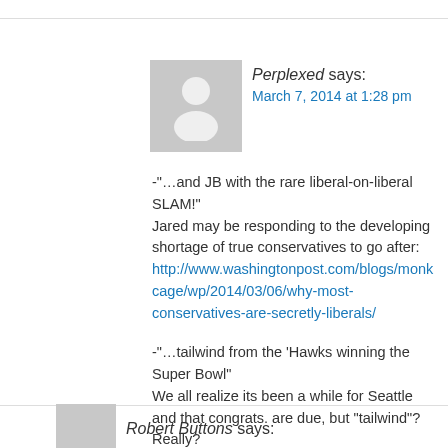Perplexed says:
March 7, 2014 at 1:28 pm
-“…and JB with the rare liberal-on-liberal SLAM!"
Jared may be responding to the developing shortage of true conservatives to go after:
http://www.washingtonpost.com/blogs/monkey-cage/wp/2014/03/06/why-most-conservatives-are-secretly-liberals/

-“…tailwind from the ‘Hawks winning the Super Bowl"
We all realize its been a while for Seattle and that congrats. are due, but “tailwind”? Really?
Robert Buttons says: